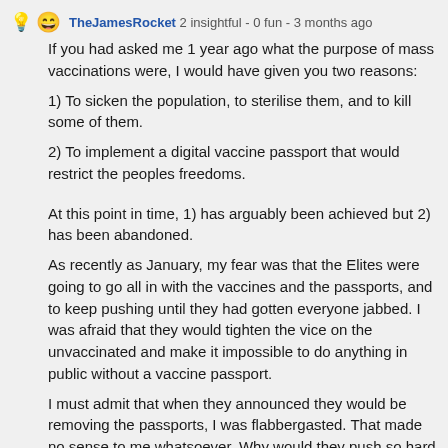TheJamesRocket 2 insightful - 0 fun - 3 months ago
If you had asked me 1 year ago what the purpose of mass vaccinations were, I would have given you two reasons:
1) To sicken the population, to sterilise them, and to kill some of them.
2) To implement a digital vaccine passport that would restrict the peoples freedoms.
At this point in time, 1) has arguably been achieved but 2) has been abandoned.
As recently as January, my fear was that the Elites were going to go all in with the vaccines and the passports, and to keep pushing until they had gotten everyone jabbed. I was afraid that they would tighten the vice on the unvaccinated and make it impossible to do anything in public without a vaccine passport.
I must admit that when they announced they would be removing the passports, I was flabbergasted. That made no sense to me whatsoever. Why would they push so hard for so long, to burn through so much